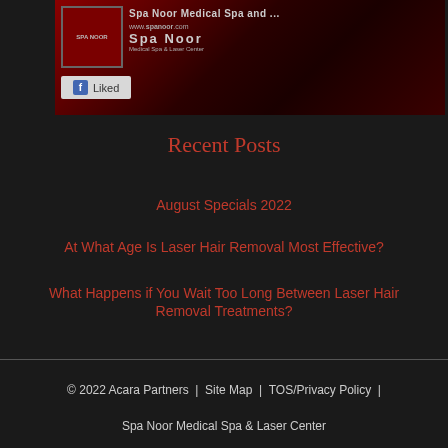[Figure (screenshot): Spa Noor Medical Spa and Laser Center Facebook page image with logo and 'Liked' button]
Recent Posts
August Specials 2022
At What Age Is Laser Hair Removal Most Effective?
What Happens if You Wait Too Long Between Laser Hair Removal Treatments?
© 2022 Acara Partners  |  Site Map  |  TOS/Privacy Policy  |
Spa Noor Medical Spa & Laser Center